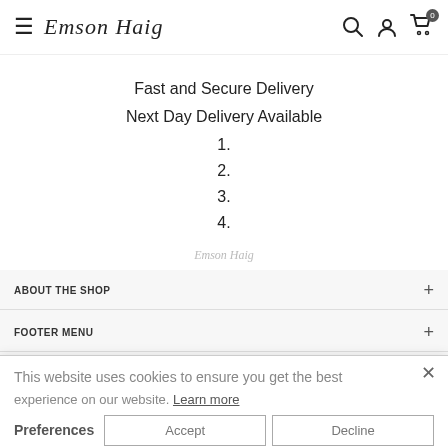Emson Haig — navigation bar with hamburger menu, logo, search, account, and cart icons
Fast and Secure Delivery
Next Day Delivery Available
1.
2.
3.
4.
[Figure (logo): Small Emson Haig logo watermark in gray]
This website uses cookies to ensure you get the best experience on our website. Learn more
ABOUT THE SHOP +
FOOTER MENU +
NEWSLETTER